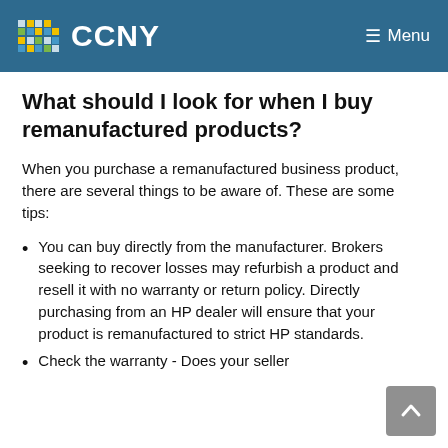CCNY  Menu
What should I look for when I buy remanufactured products?
When you purchase a remanufactured business product, there are several things to be aware of. These are some tips:
You can buy directly from the manufacturer. Brokers seeking to recover losses may refurbish a product and resell it with no warranty or return policy. Directly purchasing from an HP dealer will ensure that your product is remanufactured to strict HP standards.
Check the warranty - Does your seller